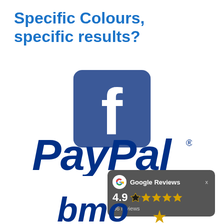Specific Colours, specific results?
[Figure (logo): Facebook logo — blue rounded square with white lowercase 'f']
[Figure (logo): PayPal logo — blue italic bold text 'PayPal' with registered trademark symbol]
[Figure (infographic): Google Reviews badge showing rating 4.9 with 5 gold stars and 36 reviews on dark grey rounded background with Google 'G' icon]
[Figure (logo): Partial BMO logo — blue italic bold 'bmo' letters partially visible at bottom with a gold star]